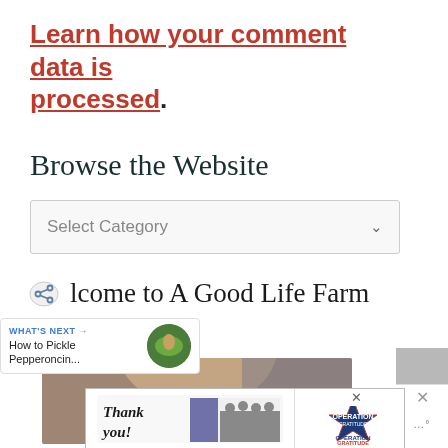Learn how your comment data is processed.
Browse the Website
Select Category
Welcome to A Good Life Farm
WHAT'S NEXT → How to Pickle Pepperoncin...
[Figure (photo): Partial photo of a person with brown hair]
[Figure (photo): Advertisement banner with 'Thank you!' handwritten text and Operation Gratitude logo with firefighters photo]